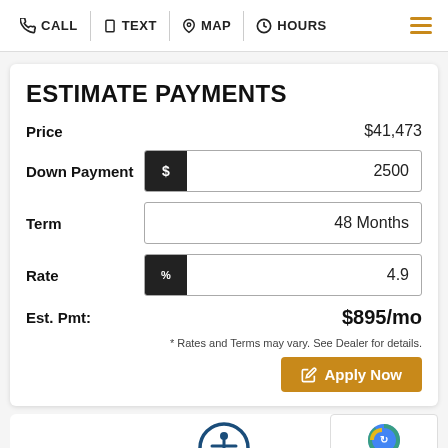CALL | TEXT | MAP | HOURS
ESTIMATE PAYMENTS
Price   $41,473
Down Payment   $ 2500
Term   48 Months
Rate   % 4.9
Est. Pmt:   $895/mo
* Rates and Terms may vary. See Dealer for details.
Apply Now
[Figure (logo): Accessibility icon - person in circle]
CUSTOMER TESTIMONIALS